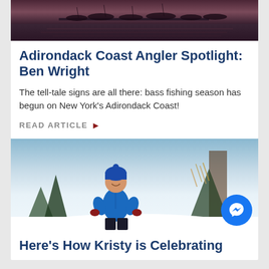[Figure (photo): Aerial view of boats docked at a harbor at dusk/dawn, dark purple-pink sky reflected on water]
Adirondack Coast Angler Spotlight: Ben Wright
The tell-tale signs are all there: bass fishing season has begun on New York's Adirondack Coast!
READ ARTICLE ▶
[Figure (photo): A toddler in a blue winter jacket and blue hat standing in a snowy outdoor scene with pine trees and dry grass]
Here's How Kristy is Celebrating